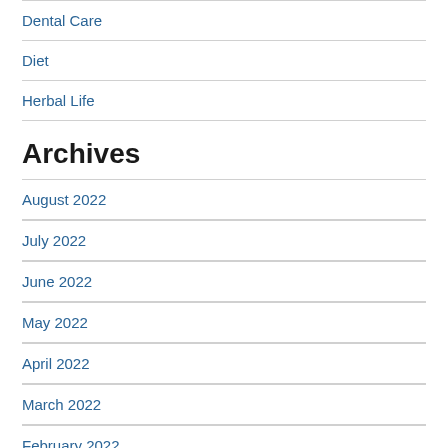Dental Care
Diet
Herbal Life
Archives
August 2022
July 2022
June 2022
May 2022
April 2022
March 2022
February 2022
January 2022